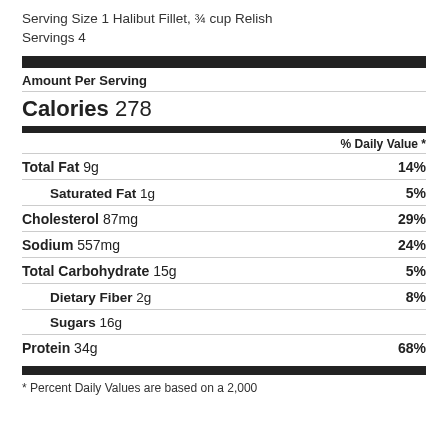Serving Size 1 Halibut Fillet, ¾ cup Relish
Servings 4
| Nutrient | Amount | % Daily Value |
| --- | --- | --- |
| Amount Per Serving |  |  |
| Calories | 278 |  |
| % Daily Value * |  |  |
| Total Fat | 9g | 14% |
| Saturated Fat | 1g | 5% |
| Cholesterol | 87mg | 29% |
| Sodium | 557mg | 24% |
| Total Carbohydrate | 15g | 5% |
| Dietary Fiber | 2g | 8% |
| Sugars | 16g |  |
| Protein | 34g | 68% |
* Percent Daily Values are based on a 2,000